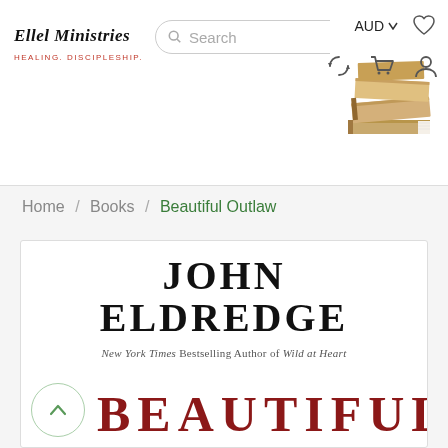[Figure (screenshot): Ellel Ministries online bookstore webpage showing navigation header with logo, search bar, AUD currency selector, wishlist, cart, and account icons, a stack of books image, breadcrumb navigation (Home / Books / Beautiful Outlaw), and a book cover for 'Beautiful Outlaw' by John Eldredge showing the author name and partial book title]
Ellel Ministries | Search | AUD | icons
Home / Books / Beautiful Outlaw
JOHN ELDREDGE
New York Times Bestselling Author of Wild at Heart
BEAUTIFUL